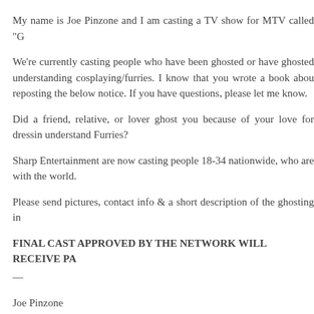My name is Joe Pinzone and I am casting a TV show for MTV called "G
We're currently casting people who have been ghosted or have ghosted understanding cosplaying/furries. I know that you wrote a book about reposting the below notice. If you have questions, please let me know.
Did a friend, relative, or lover ghost you because of your love for dressing understand Furries?
Sharp Entertainment are now casting people 18-34 nationwide, who are with the world.
Please send pictures, contact info & a short description of the ghosting in
FINAL CAST APPROVED BY THE NETWORK WILL RECEIVE PA
—
Joe Pinzone
Facebook casting page
LinkedIn Profile